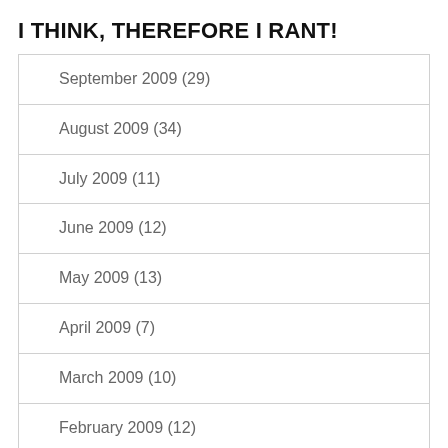I THINK, THEREFORE I RANT!
September 2009 (29)
August 2009 (34)
July 2009 (11)
June 2009 (12)
May 2009 (13)
April 2009 (7)
March 2009 (10)
February 2009 (12)
January 2009 (7)
November 2008 (8)